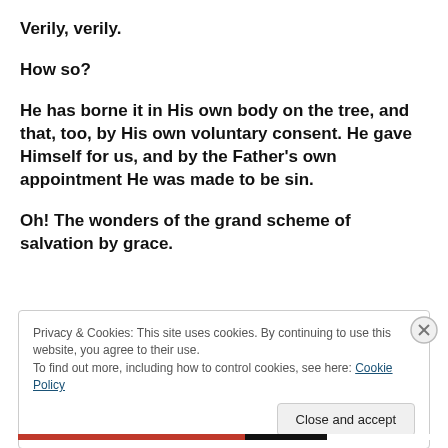Verily, verily.
How so?
He has borne it in His own body on the tree, and that, too, by His own voluntary consent. He gave Himself for us, and by the Father's own appointment He was made to be sin.
Oh! The wonders of the grand scheme of salvation by grace.
Privacy & Cookies: This site uses cookies. By continuing to use this website, you agree to their use.
To find out more, including how to control cookies, see here: Cookie Policy
Close and accept